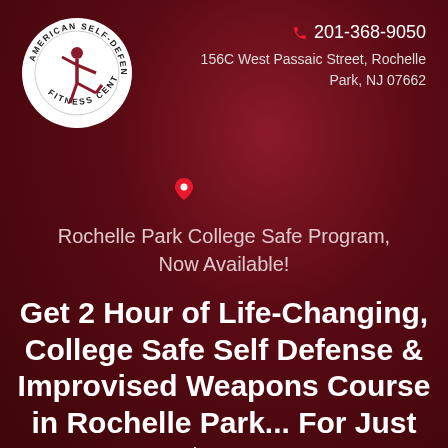[Figure (logo): American Self-Defense Fitness Center circular logo with white background, showing a martial arts figure silhouette and text around the border]
201-368-9050
156C West Passaic Street, Rochelle Park, NJ 07662
Rochelle Park College Safe Program, Now Available!
Get 2 Hour of Life-Changing, College Safe Self Defense & Improvised Weapons Course in Rochelle Park... For Just $40...